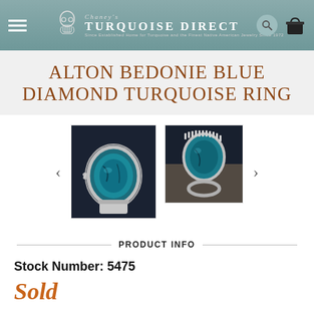Chaney's Turquoise Direct
ALTON BEDONIE BLUE DIAMOND TURQUOISE RING
[Figure (photo): Two product photos of a silver turquoise ring with Blue Diamond turquoise stone, shown from different angles]
PRODUCT INFO
Stock Number: 5475
Sold